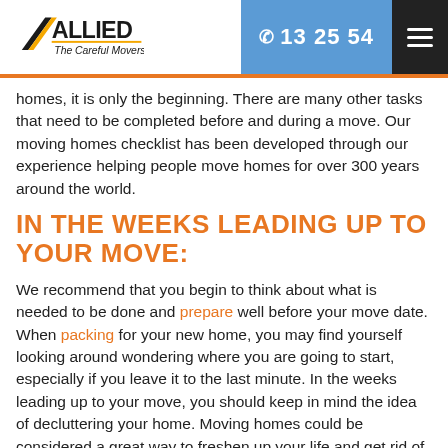Allied The Careful Movers | 13 25 54
homes, it is only the beginning. There are many other tasks that need to be completed before and during a move. Our moving homes checklist has been developed through our experience helping people move homes for over 300 years around the world.
IN THE WEEKS LEADING UP TO YOUR MOVE:
We recommend that you begin to think about what is needed to be done and prepare well before your move date. When packing for your new home, you may find yourself looking around wondering where you are going to start, especially if you leave it to the last minute. In the weeks leading up to your move, you should keep in mind the idea of decluttering your home. Moving homes could be considered a great way to freshen up your life and get rid of